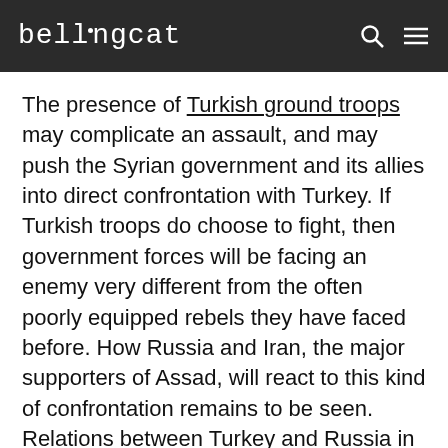bellingcat
The presence of Turkish ground troops may complicate an assault, and may push the Syrian government and its allies into direct confrontation with Turkey. If Turkish troops do choose to fight, then government forces will be facing an enemy very different from the often poorly equipped rebels they have faced before. How Russia and Iran, the major supporters of Assad, will react to this kind of confrontation remains to be seen. Relations between Turkey and Russia in particular have warmed significantly over the previous two years, while Turkish relations with the USA have cooled. Statements made by the Turkish Foreign Minister even suggests a willingness to cooperate militarily